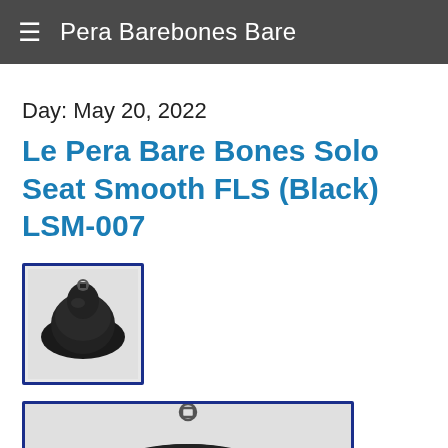Pera Barebones Bare
Day: May 20, 2022
Le Pera Bare Bones Solo Seat Smooth FLS (Black) LSM-007
[Figure (photo): Thumbnail image of a black motorcycle solo seat (Le Pera Bare Bones) with blue border frame]
[Figure (photo): Larger image of a black motorcycle solo seat (Le Pera Bare Bones) partially visible, with blue border frame]